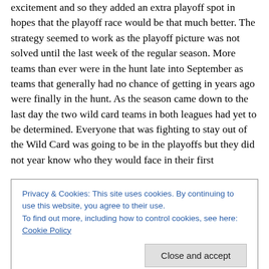excitement and so they added an extra playoff spot in hopes that the playoff race would be that much better. The strategy seemed to work as the playoff picture was not solved until the last week of the regular season. More teams than ever were in the hunt late into September as teams that generally had no chance of getting in years ago were finally in the hunt. As the season came down to the last day the two wild card teams in both leagues had yet to be determined. Everyone that was fighting to stay out of the Wild Card was going to be in the playoffs but they did not year know who they would face in their first
Privacy & Cookies: This site uses cookies. By continuing to use this website, you agree to their use.
To find out more, including how to control cookies, see here: Cookie Policy
Close and accept
...